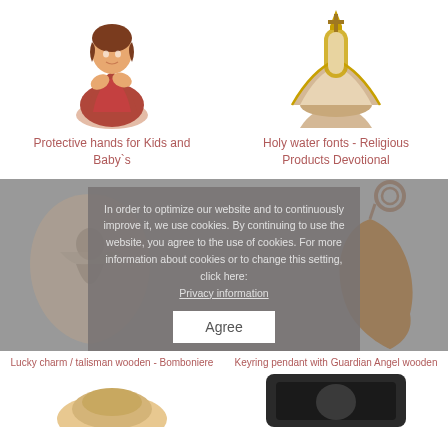[Figure (photo): Kneeling child figurine in red/brown robes with hands clasped]
[Figure (photo): Gold and beige holy water font, decorative religious item]
Protective hands for Kids and Baby`s
Holy water fonts - Religious Products Devotional
In order to optimize our website and to continuously improve it, we use cookies. By continuing to use the website, you agree to the use of cookies. For more information about cookies or to change this setting, click here: Privacy information
[Figure (photo): Gray teardrop-shaped lucky charm, wooden, with angel figure relief]
[Figure (photo): Brown wooden keyring pendant with Guardian Angel shape and keyring]
Lucky charm / talisman wooden - Bomboniere
Keyring pendant with Guardian Angel wooden